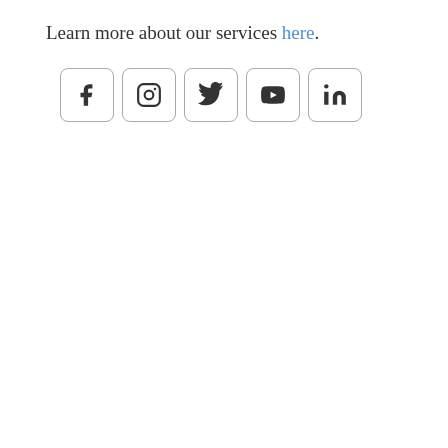Learn more about our services here.
[Figure (illustration): Five social media icon buttons in rounded rectangles: Facebook (f), Instagram (camera), Twitter (bird), YouTube (play button), LinkedIn (in)]